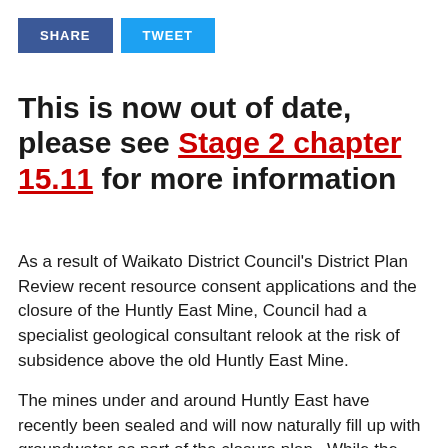[Figure (other): Two social sharing buttons: SHARE (dark blue) and TWEET (light blue)]
This is now out of date, please see Stage 2 chapter 15.11 for more information
As a result of Waikato District Council's District Plan Review recent resource consent applications and the closure of the Huntly East Mine, Council had a specialist geological consultant relook at the risk of subsidence above the old Huntly East Mine.
The mines under and around Huntly East have recently been sealed and will now naturally fill up with groundwater as part of the closure plan.  While the mine fills with water (estimated to take some 3-5 years), Council will...